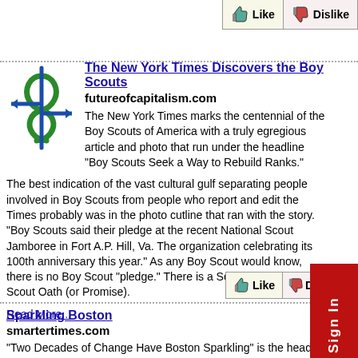[Figure (logo): futureofcapitalism.com logo: green dollar sign with blue arrows pointing left and right]
The New York Times Discovers the Boy Scouts
futureofcapitalism.com
The New York Times marks the centennial of the Boy Scouts of America with a truly egregious article and photo that run under the headline "Boy Scouts Seek a Way to Rebuild Ranks."
The best indication of the vast cultural gulf separating people involved in Boy Scouts from people who report and edit the Times probably was in the photo cutline that ran with the story. "Boy Scouts said their pledge at the recent National Scout Jamboree in Fort A.P. Hill, Va. The organization is celebrating its 100th anniversary this year." As any Boy Scout would know, there is no Boy Scout "pledge." There is a Scout Law, and a Scout Oath (or Promise).
Read More...
Sparkling Boston
smartertimes.com
"Two Decades of Change Have Boston Sparkling" is the headline of a New York Times news article that makes Boston sound like some kind of paradise: "one of the most successful urban renaissance stories in modern American history." The newspaper claims, inaccurately, that "The blight that afflicts many urban areas is absent here."